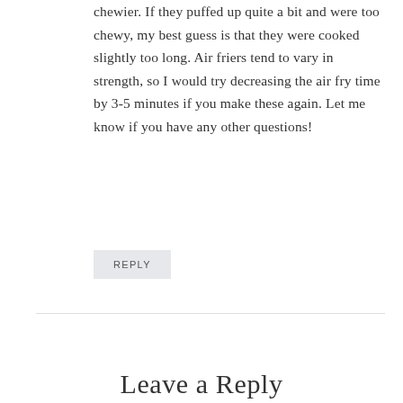chewier. If they puffed up quite a bit and were too chewy, my best guess is that they were cooked slightly too long. Air friers tend to vary in strength, so I would try decreasing the air fry time by 3-5 minutes if you make these again. Let me know if you have any other questions!
REPLY
Leave a Reply